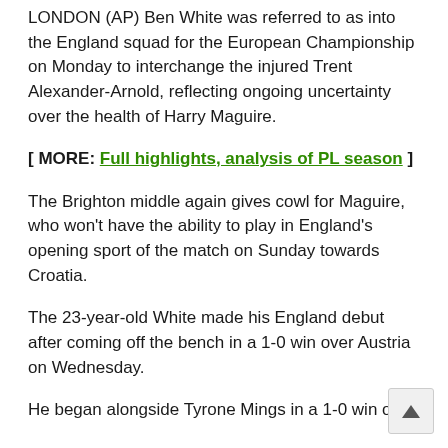LONDON (AP) Ben White was referred to as into the England squad for the European Championship on Monday to interchange the injured Trent Alexander-Arnold, reflecting ongoing uncertainty over the health of Harry Maguire.
[ MORE: Full highlights, analysis of PL season ]
The Brighton middle again gives cowl for Maguire, who won't have the ability to play in England's opening sport of the match on Sunday towards Croatia.
The 23-year-old White made his England debut after coming off the bench in a 1-0 win over Austria on Wednesday.
He began alongside Tyrone Mings in a 1-0 win over